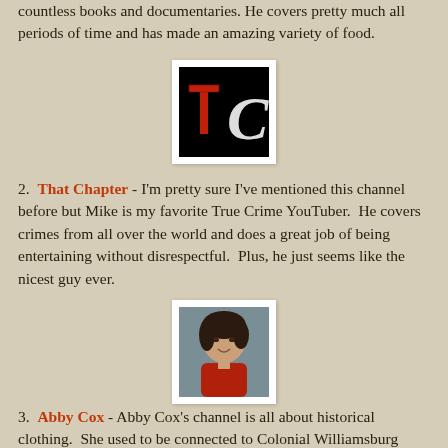countless books and documentaries. He covers pretty much all periods of time and has made an amazing variety of food.
[Figure (logo): That Chapter YouTube channel logo: black background with red letter T and white letter C]
2. That Chapter - I'm pretty sure I've mentioned this channel before but Mike is my favorite True Crime YouTuber. He covers crimes from all over the world and does a great job of being entertaining without disrespectful. Plus, he just seems like the nicest guy ever.
[Figure (photo): Photo of Abby Cox, a young woman with short dark hair wearing a red top, smiling slightly]
3. Abby Cox - Abby Cox's channel is all about historical clothing. She used to be connected to Colonial Williamsburg